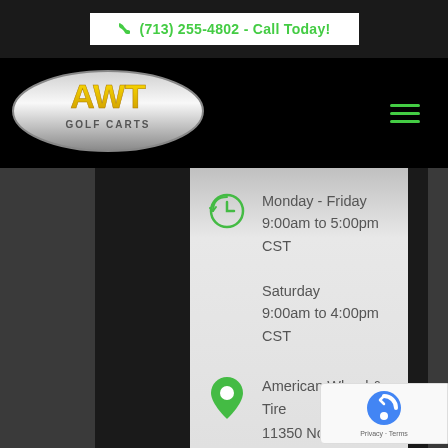(713) 255-4802 - Call Today!
[Figure (logo): AWT Golf Carts logo — yellow AWT letters on silver oval background with 'GOLF CARTS' text below]
Monday - Friday
9:00am to 5:00pm CST

Saturday
9:00am to 4:00pm CST
American Wheel & Tire
11350 Northwest Fwy
Houston, TX 77092